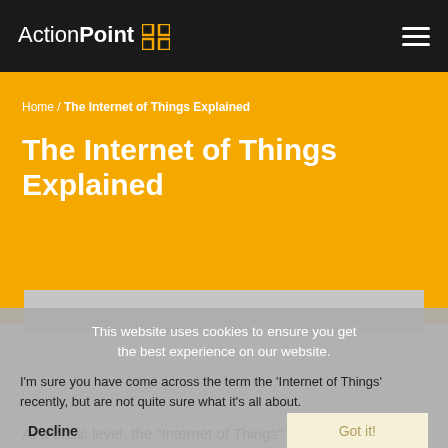ActionPoint [logo] [hamburger menu]
Home / The Internet of Things Explained
The Internet of Things Explained
This website uses cookies to ensure you get the best experience on our website.
I’m sure you have come across the term the ‘Internet of Things’ recently, but are not quite sure what it’s all about.
At a basic level, the “Internet of Things” or IoT (pronounced eye-oh-tee) is all about taking a physical